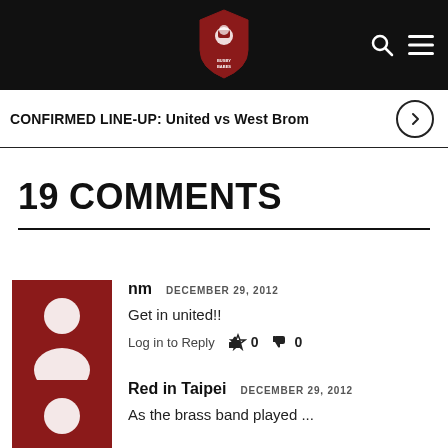Site header with logo and navigation icons
CONFIRMED LINE-UP: United vs West Brom
19 COMMENTS
nm  DECEMBER 29, 2012
Get in united!!
Log in to Reply  👍 0  👎 0
Red in Taipei  DECEMBER 29, 2012
As the brass band played ...